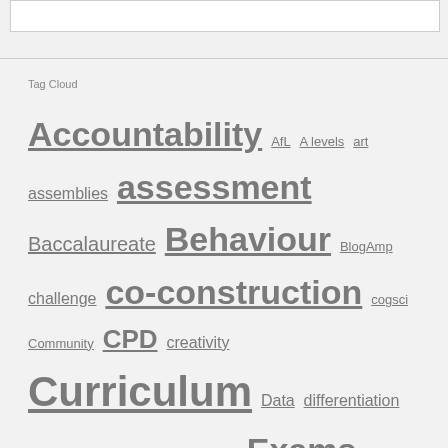[Figure (photo): Partial image visible at top of page, dark green shape on white background]
Tag Cloud
Accountability AfL A levels art assemblies assessment Baccalaureate Behaviour BlogAmp challenge co-construction cogsci Community CPD creativity Curriculum Data differentiation EBacc edtech elearning ethos Exams FE Feedback formative assessment gcse gtvoice homework Human Spirit Inclusion independent ipads knowledge leadership